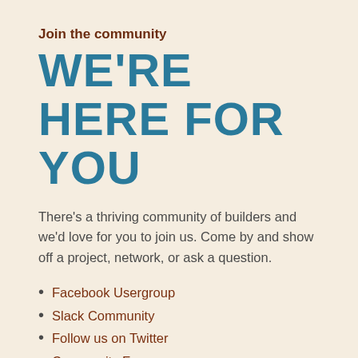Join the community
WE'RE HERE FOR YOU
There's a thriving community of builders and we'd love for you to join us. Come by and show off a project, network, or ask a question.
Facebook Usergroup
Slack Community
Follow us on Twitter
Community Forums